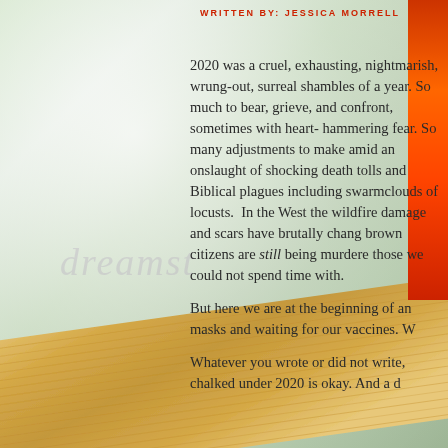WRITTEN BY: JESSICA MORRELL
2020 was a cruel, exhausting, nightmarish, wrung-out, surreal shambles of a year. So much to bear, grieve, and confront, sometimes with heart-hammering fear. So many adjustments to make amid an onslaught of shocking death tolls and Biblical plagues including swarmclouds of locusts.  In the West the wildfire damage and scars have brutally chang... brown citizens are still being murdere... those we could not spend time with.
But here we are at the beginning of an... masks and waiting for our vaccines. W...
Whatever you wrote or did not write, ... chalked under 2020 is okay. And a d...